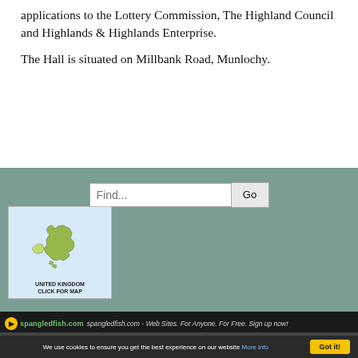applications to the Lottery Commission, The Highland Council and Highlands & Highlands Enterprise.
The Hall is situated on Millbank Road, Munlochy.
[Figure (map): Map of United Kingdom with label UNITED KINGDOM and CLICK FOR MAP]
spangledfish.com - Web Sites. For Anyone. For Free. Sign up now!
We use cookies to ensure you get the best experience on our website More info